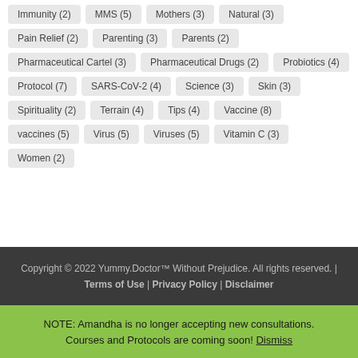Immunity (2)
MMS (5)
Mothers (3)
Natural (3)
Pain Relief (2)
Parenting (3)
Parents (2)
Pharmaceutical Cartel (3)
Pharmaceutical Drugs (2)
Probiotics (4)
Protocol (7)
SARS-CoV-2 (4)
Science (3)
Skin (3)
Spirituality (2)
Terrain (4)
Tips (4)
Vaccine (8)
vaccines (5)
Virus (5)
Viruses (5)
Vitamin C (3)
Women (2)
Copyright © 2022 Yummy.Doctor™ Without Prejudice. All rights reserved. | Terms of Use | Privacy Policy | Disclaimer
NOTE: Amandha is no longer accepting new consultations. Courses and Protocols are coming soon! Dismiss